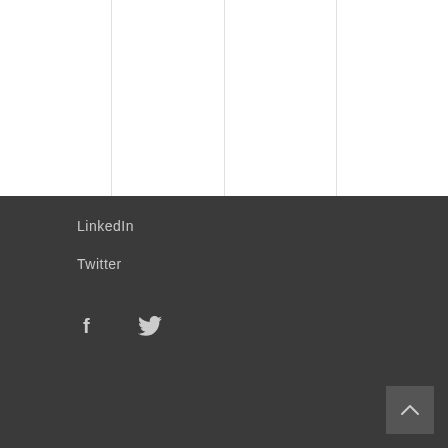[Figure (other): White top section with vertical column dividers]
LinkedIn
Twitter
[Figure (other): Social media icons: Facebook and Twitter bird icons in white on dark background]
Back to top chevron button